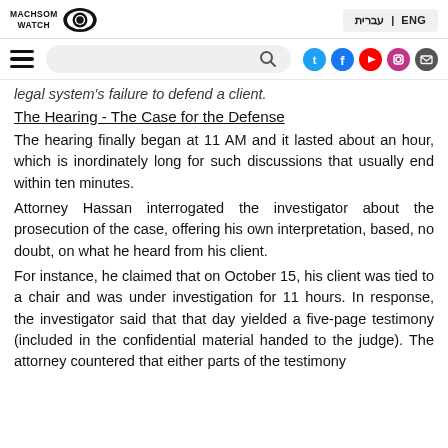MACHSOM WATCH | ENG | עברית
legal system's failure to defend a client.
The Hearing - The Case for the Defense
The hearing finally began at 11 AM and it lasted about an hour, which is inordinately long for such discussions that usually end within ten minutes.
Attorney Hassan interrogated the investigator about the prosecution of the case, offering his own interpretation, based, no doubt, on what he heard from his client.
For instance, he claimed that on October 15, his client was tied to a chair and was under investigation for 11 hours. In response, the investigator said that that day yielded a five-page testimony (included in the confidential material handed to the judge). The attorney countered that either parts of the testimony